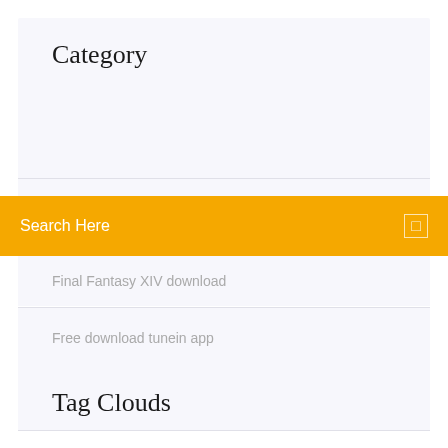Category
Final Fantasy XIV download
Search Here
Free download tunein app
Tag Clouds